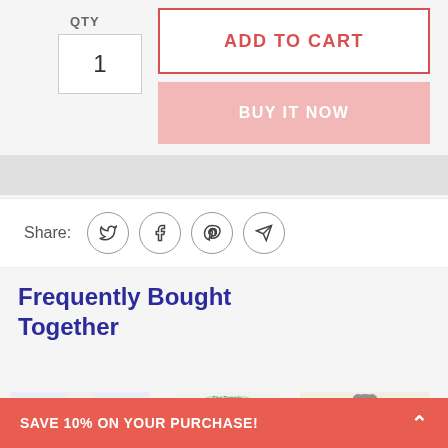QTY
1
ADD TO CART
BUY IT NOW
Share:
Frequently Bought Together
[Figure (photo): White fluffy dog wearing a blue outfit]
[Figure (photo): Flea Tornado pet product package with green applicators]
[Figure (photo): Gray cat wearing a yellow shirt]
SAVE 10% ON YOUR PURCHASE!